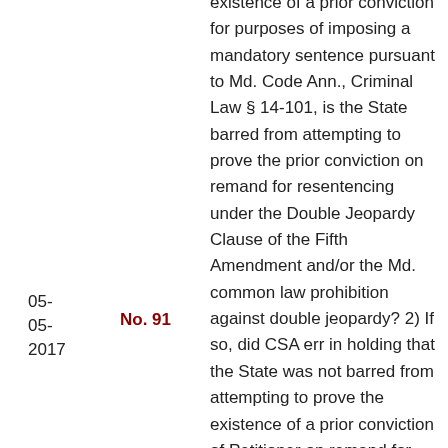existence of a prior conviction for purposes of imposing a mandatory sentence pursuant to Md. Code Ann., Criminal Law § 14-101, is the State barred from attempting to prove the prior conviction on remand for resentencing under the Double Jeopardy Clause of the Fifth Amendment and/or the Md. common law prohibition against double jeopardy? 2) If so, did CSA err in holding that the State was not barred from attempting to prove the existence of a prior conviction of Petitioner on remand for resentencing? 3) Did the trial
05-
05-
2017
No. 91